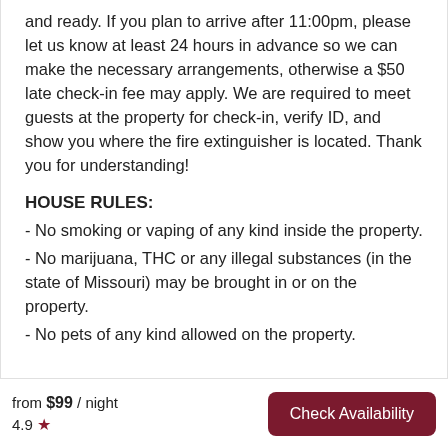and ready. If you plan to arrive after 11:00pm, please let us know at least 24 hours in advance so we can make the necessary arrangements, otherwise a $50 late check-in fee may apply. We are required to meet guests at the property for check-in, verify ID, and show you where the fire extinguisher is located. Thank you for understanding!
HOUSE RULES:
- No smoking or vaping of any kind inside the property.
- No marijuana, THC or any illegal substances (in the state of Missouri) may be brought in or on the property.
- No pets of any kind allowed on the property.
from $99 / night  4.9 ★  Check Availability